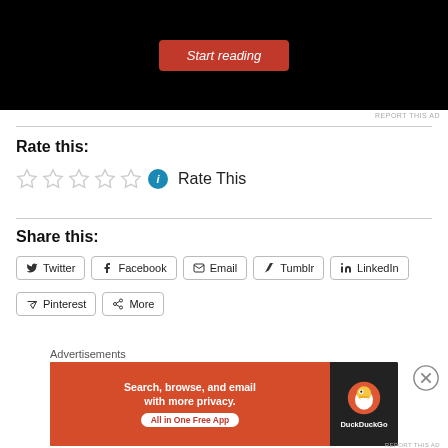[Figure (screenshot): Top portion of a website ad with black background showing a 'Start reading' red button]
REPORT THIS AD
Rate this:
[Figure (other): Five empty star rating icons followed by a blue info icon and 'Rate This' text]
Share this:
Twitter  Facebook  Email  Tumblr  LinkedIn  Pinterest  More
Advertisements
[Figure (screenshot): DuckDuckGo advertisement: 'Search, browse, and email with more privacy. All in One Free App' with DuckDuckGo logo]